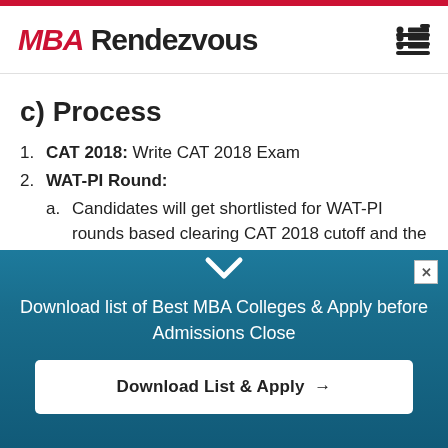MBA Rendezvous
c) Process
1. CAT 2018: Write CAT 2018 Exam
2. WAT-PI Round:
a. Candidates will get shortlisted for WAT-PI rounds based clearing CAT 2018 cutoff and the Composite Score (CS) calculated on the basis
Download list of Best MBA Colleges & Apply before Admissions Close
Download List & Apply →